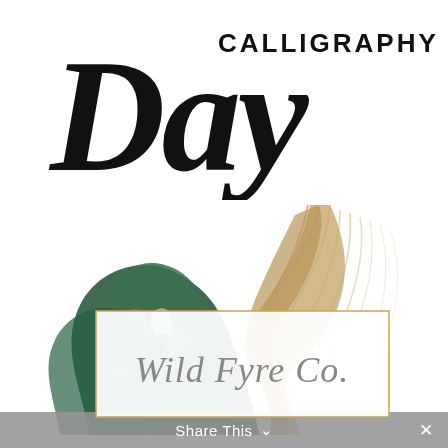Day CALLIGRAPHY
[Figure (illustration): Botanical illustration with dark green monstera leaves and tan/golden dried palm or pampas grass fronds arranged decoratively, with small gold speckles on the leaves]
[Figure (logo): Wild Fyre Co. written in cursive/calligraphy script inside a thin gold-bordered rectangle with white background]
Share This ∨  ✕